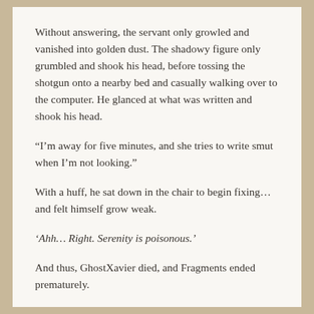Without answering, the servant only growled and vanished into golden dust. The shadowy figure only grumbled and shook his head, before tossing the shotgun onto a nearby bed and casually walking over to the computer. He glanced at what was written and shook his head.
“I’m away for five minutes, and she tries to write smut when I’m not looking.”
With a huff, he sat down in the chair to begin fixing… and felt himself grow weak.
‘Ahh… Right. Serenity is poisonous.’
And thus, GhostXavier died, and Fragments ended prematurely.
El Fin. Or was it La Fin. Fin? Oh screw it.